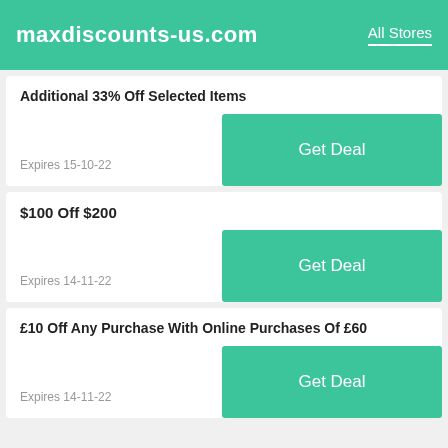maxdiscounts-us.com  All Stores
Additional 33% Off Selected Items
Expires 15-10-22
$100 Off $200
Expires 14-11-22
£10 Off Any Purchase With Online Purchases Of £60
Expires 14-11-22